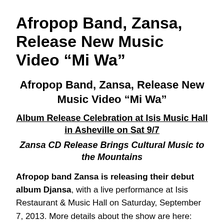Afropop Band, Zansa, Release New Music Video “Mi Wa”
Afropop Band, Zansa, Release New Music Video “Mi Wa”
Album Release Celebration at Isis Music Hall in Asheville on Sat 9/7
Zansa CD Release Brings Cultural Music to the Mountains
Afropop band Zansa is releasing their debut album Djansa, with a live performance at Isis Restaurant & Music Hall on Saturday, September 7, 2013. More details about the show are here: http://bit.ly/17hTCGo